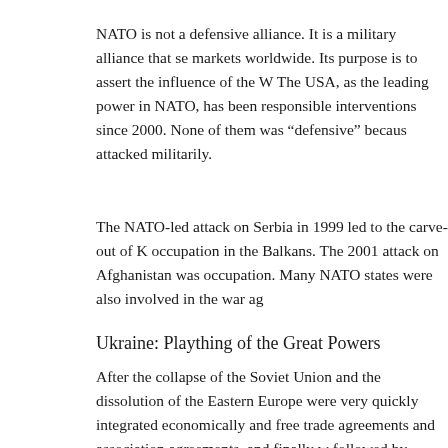NATO is not a defensive alliance. It is a military alliance that se markets worldwide. Its purpose is to assert the influence of the W The USA, as the leading power in NATO, has been responsible interventions since 2000. None of them was “defensive” becaus attacked militarily.
The NATO-led attack on Serbia in 1999 led to the carve-out of K occupation in the Balkans. The 2001 attack on Afghanistan was occupation. Many NATO states were also involved in the war ag
Ukraine: Plaything of the Great Powers
After the collapse of the Soviet Union and the dissolution of the Eastern Europe were very quickly integrated economically and free trade agreements and association agreements, and finally w followed by admission to NATO. The association agreement wi expanding the EU’s economic influence in Ukraine.